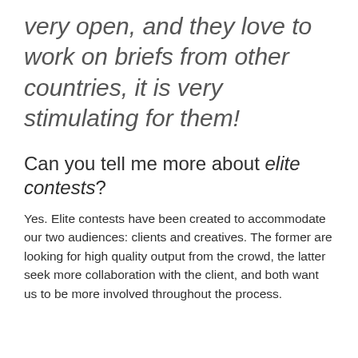very open, and they love to work on briefs from other countries, it is very stimulating for them!
Can you tell me more about elite contests?
Yes. Elite contests have been created to accommodate our two audiences: clients and creatives. The former are looking for high quality output from the crowd, the latter seek more collaboration with the client, and both want us to be more involved throughout the process.